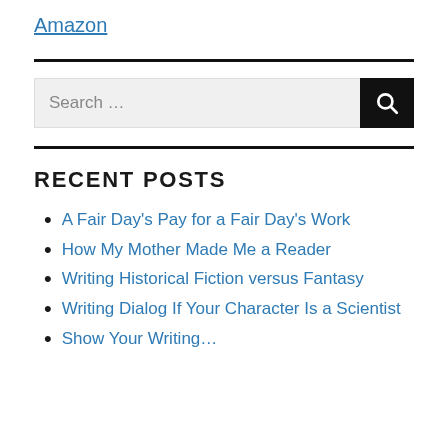Amazon
Search ...
RECENT POSTS
A Fair Day's Pay for a Fair Day's Work
How My Mother Made Me a Reader
Writing Historical Fiction versus Fantasy
Writing Dialog If Your Character Is a Scientist
Show Your Writing...